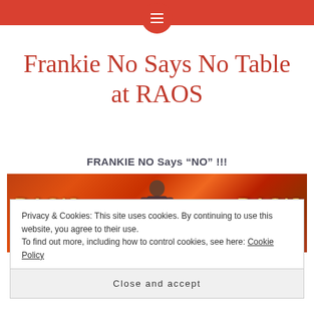Frankie No Says No Table at RAOS
FRANKIE NO Says “NO” !!!
[Figure (photo): A man standing in front of the Rao's restaurant sign with orange/red illuminated lettering on both sides]
Privacy & Cookies: This site uses cookies. By continuing to use this website, you agree to their use.
To find out more, including how to control cookies, see here: Cookie Policy
Close and accept